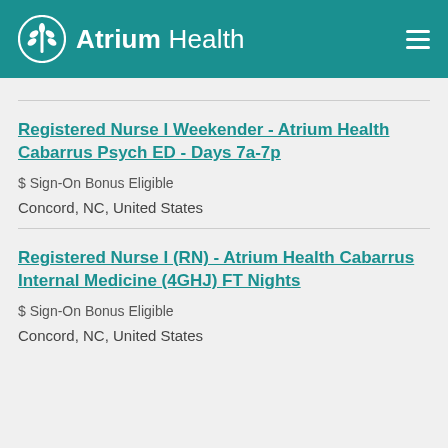Atrium Health
Registered Nurse I Weekender - Atrium Health Cabarrus Psych ED - Days 7a-7p
$ Sign-On Bonus Eligible
Concord, NC, United States
Registered Nurse I (RN) - Atrium Health Cabarrus Internal Medicine (4GHJ) FT Nights
$ Sign-On Bonus Eligible
Concord, NC, United States